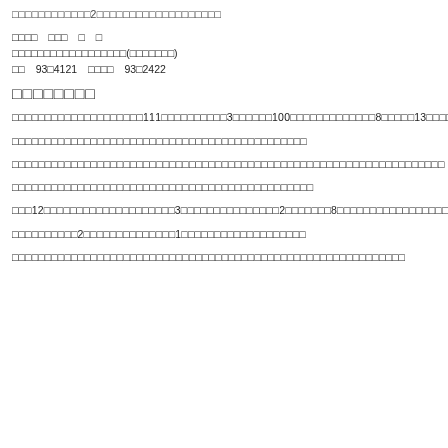□□□□□□□□□□□□2□□□□□□□□□□□□□□□□□□□
□□□□　□□□　□　□
□□□□□□□□□□□□□□□□□□(□□□□□□□)
□□　93□4121　□□□□　93□2422
□□□□□□□□
□□□□□□□□□□□□□□□□□□□□111□□□□□□□□□□3□□□□□□100□□□□□□□□□□□□□8□□□□□13□□□□□□□□□□□□□□□□□□□
□□□□□□□□□□□□□□□□□□□□□□□□□□□□□□□□□□□□□□□□□□□□□
□□□□□□□□□□□□□□□□□□□□□□□□□□□□□□□□□□□□□□□□□□□□□□□□□□□□□□□□□□□□□□□□□□
□□□□□□□□□□□□□□□□□□□□□□□□□□□□□□□□□□□□□□□□□□□□□□
□□□12□□□□□□□□□□□□□□□□□□□□3□□□□□□□□□□□□□□□2□□□□□□□8□□□□□□□□□□□□□□□□□□□□□□□
□□□□□□□□□□2□□□□□□□□□□□□□□1□□□□□□□□□□□□□□□□□□□
□□□□□□□□□□□□□□□□□□□□□□□□□□□□□□□□□□□□□□□□□□□□□□□□□□□□□□□□□□□